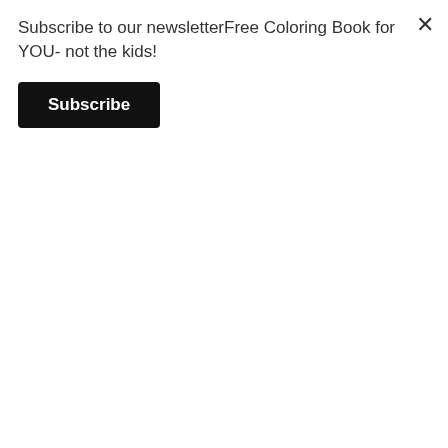Subscribe to our newsletterFree Coloring Book for YOU- not the kids!
Subscribe
various size packages for every budget. Follow Himiku on Instagram to stay connected to their amazing company.
Blessings,
[Figure (photo): Portrait photo of Lindsey Stratmann, a young woman with brown hair wearing a red and black plaid shirt]
LINDSEY STRATMANN
Contributor
Lindsey is a SAHM blogger with a B.S. in Child Psych that enjoys her hubby, two sons and the peaceful joy of a slow-paced southern life